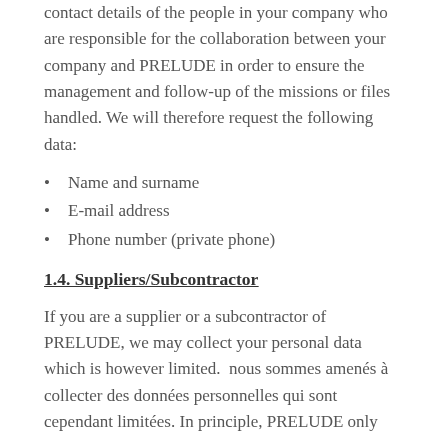contact details of the people in your company who are responsible for the collaboration between your company and PRELUDE in order to ensure the management and follow-up of the missions or files handled. We will therefore request the following data:
Name and surname
E-mail address
Phone number (private phone)
1.4. Suppliers/Subcontractor
If you are a supplier or a subcontractor of PRELUDE, we may collect your personal data which is however limited.  nous sommes amenés à collecter des données personnelles qui sont cependant limitées. In principle, PRELUDE only